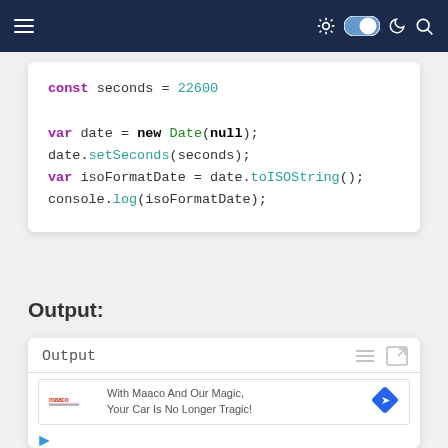[Figure (screenshot): Dark blue navigation bar with hamburger menu icon on the left and theme toggle, moon icon, and search icon on the right]
[Figure (screenshot): Code block on white card showing JavaScript code: const seconds = 22600; var date = new Date(null); date.setSeconds(seconds); var isoFormatDate = date.toISOString(); console.log(isoFormatDate);]
Output:
[Figure (screenshot): Output panel box with title 'Output' and menu/expand icons, with an advertisement for Maaco below reading 'With Maaco And Our Magic, Your Car Is No Longer Tragic!']